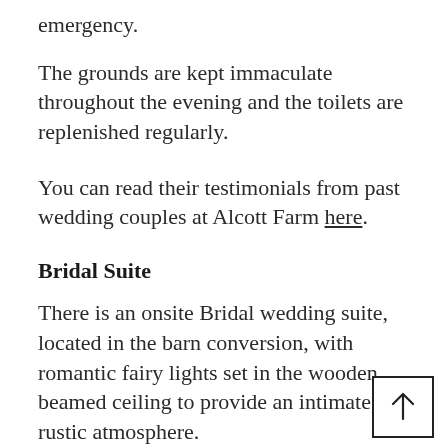emergency.
The grounds are kept immaculate throughout the evening and the toilets are replenished regularly.
You can read their testimonials from past wedding couples at Alcott Farm here.
Bridal Suite
There is an onsite Bridal wedding suite, located in the barn conversion, with romantic fairy lights set in the wooden beamed ceiling to provide an intimate, rustic atmosphere.
This...